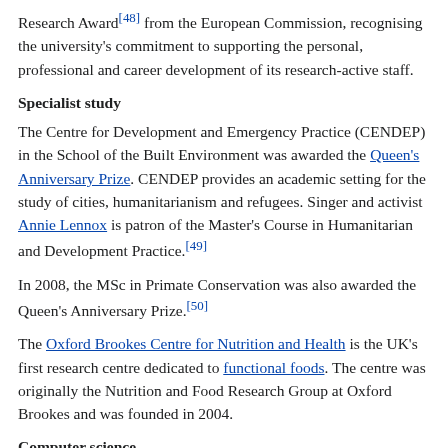Research Award[48] from the European Commission, recognising the university's commitment to supporting the personal, professional and career development of its research-active staff.
Specialist study
The Centre for Development and Emergency Practice (CENDEP) in the School of the Built Environment was awarded the Queen's Anniversary Prize. CENDEP provides an academic setting for the study of cities, humanitarianism and refugees. Singer and activist Annie Lennox is patron of the Master's Course in Humanitarian and Development Practice.[49]
In 2008, the MSc in Primate Conservation was also awarded the Queen's Anniversary Prize.[50]
The Oxford Brookes Centre for Nutrition and Health is the UK's first research centre dedicated to functional foods. The centre was originally the Nutrition and Food Research Group at Oxford Brookes and was founded in 2004.
Computer science
The Department of Computing and Communication Technologies is internationally recognised for its research, especially in the...